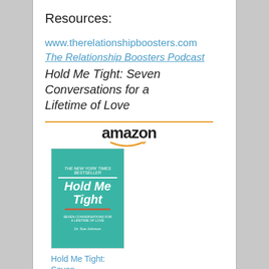Resources:
www.therelationshipboosters.com
The Relationship Boosters Podcast
Hold Me Tight: Seven Conversations for a Lifetime of Love
[Figure (screenshot): Amazon widget showing the book 'Hold Me Tight' with price $23.67, Prime badge, and a 'Shop now' button]